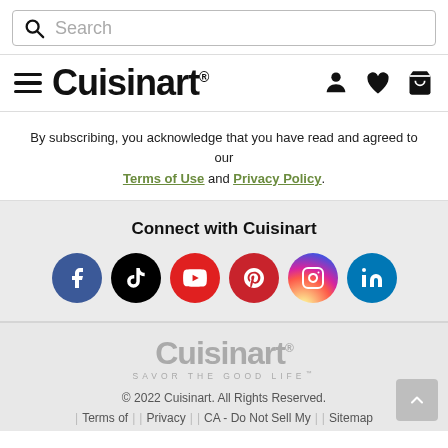Search
Cuisinart®
By subscribing, you acknowledge that you have read and agreed to our Terms of Use and Privacy Policy.
Connect with Cuisinart
[Figure (logo): Social media icons: Facebook, TikTok, YouTube, Pinterest, Instagram, LinkedIn]
[Figure (logo): Cuisinart logo in grey with tagline SAVOR THE GOOD LIFE]
© 2022 Cuisinart. All Rights Reserved.
| Terms of | | Privacy | | CA - Do Not Sell My | | Sitemap